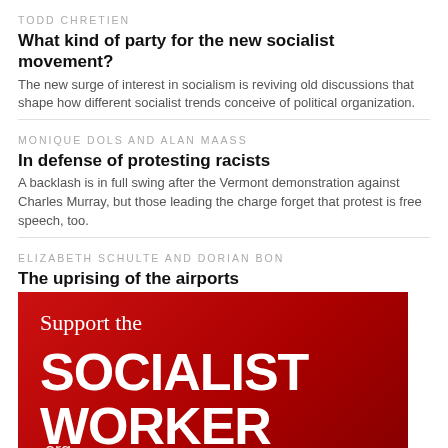TODD CHRETIEN
What kind of party for the new socialist movement?
The new surge of interest in socialism is reviving old discussions that shape how different socialist trends conceive of political organization.
MONIQUE DOLS AND ALAN MAASS
In defense of protesting racists
A backlash is in full swing after the Vermont demonstration against Charles Murray, but those leading the charge forget that protest is free speech, too.
ELIZABETH SCHULTE AND DORIAN BON
The uprising of the airports
In city after city and airport after airport, people are turning out to protest Trump's executive orders declaring war on immigrants and refugees.
[Figure (illustration): Red banner advertisement for Socialist Worker (.org) website with white text reading 'Support the SOCIALIST WORKER .org']